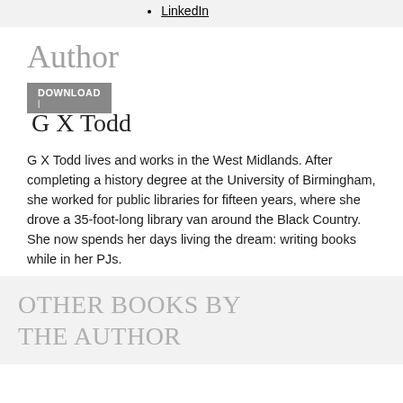LinkedIn
Author
DOWNLOAD
G X Todd
G X Todd lives and works in the West Midlands. After completing a history degree at the University of Birmingham, she worked for public libraries for fifteen years, where she drove a 35-foot-long library van around the Black Country. She now spends her days living the dream: writing books while in her PJs.
OTHER BOOKS BY THE AUTHOR